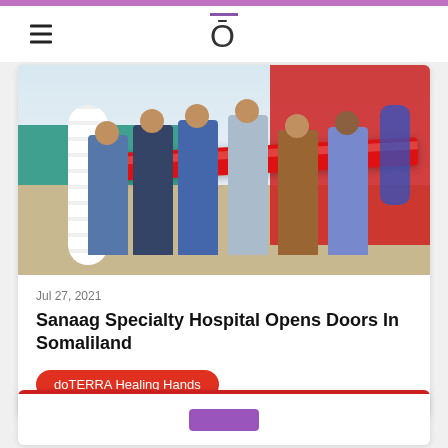doTERRA (logo with O and macron)
[Figure (photo): Group of people in masks cutting a ceremonial ribbon at the opening of Sanaag Specialty Hospital in Somaliland. Red ribbon and decorations visible, red banner in background.]
Jul 27, 2021
Sanaag Specialty Hospital Opens Doors In Somaliland
doTERRA Healing Hands